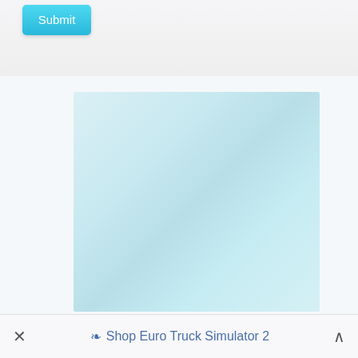[Figure (screenshot): A UI screenshot showing a Submit button at the top left (cyan/teal colored), a large light blue gradient panel in the center, and a bottom navigation bar with a close (×) button, a 'Shop Euro Truck Simulator 2' label with a tag icon, and an up chevron (^) button.]
× Shop Euro Truck Simulator 2 ^